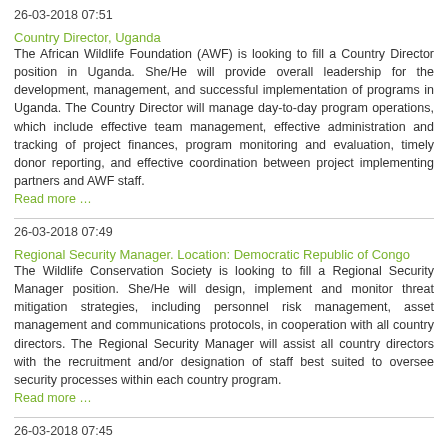26-03-2018 07:51
Country Director, Uganda
The African Wildlife Foundation (AWF) is looking to fill a Country Director position in Uganda. She/He will provide overall leadership for the development, management, and successful implementation of programs in Uganda. The Country Director will manage day-to-day program operations, which include effective team management, effective administration and tracking of project finances, program monitoring and evaluation, timely donor reporting, and effective coordination between project implementing partners and AWF staff.
Read more …
26-03-2018 07:49
Regional Security Manager. Location: Democratic Republic of Congo
The Wildlife Conservation Society is looking to fill a Regional Security Manager position. She/He will design, implement and monitor threat mitigation strategies, including personnel risk management, asset management and communications protocols, in cooperation with all country directors. The Regional Security Manager will assist all country directors with the recruitment and/or designation of staff best suited to oversee security processes within each country program.
Read more …
26-03-2018 07:45
FSC: Engagement and Outreach Officer (m/f)
8 March 2018 · FSC is currently looking for an Engagement and Outreach Officer (m/f) to be based in Bonn, Germany. Deadline for applications: 05 April 2018.
Read more …
26-03-2018 07:42